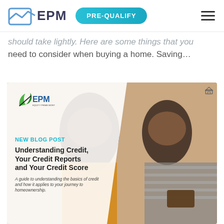EPM | PRE-QUALIFY
should take lightly. Here are some things that you need to consider when buying a home. Saving...
[Figure (photo): EPM mortgage promotional card with photo of a smiling couple looking at a phone. Card shows EPM logo, text 'NEW BLOG POST', title 'Understanding Credit, Your Credit Reports and Your Credit Score', subtitle 'A guide to understanding the basics of credit and how it applies to your journey to homeownership.']